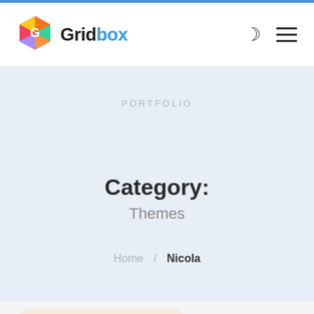Gridbox
PORTFOLIO
Category: Themes
Home / Nicola
[Figure (screenshot): Partial view of a portfolio card with a warm beige background and a blue device mockup thumbnail]